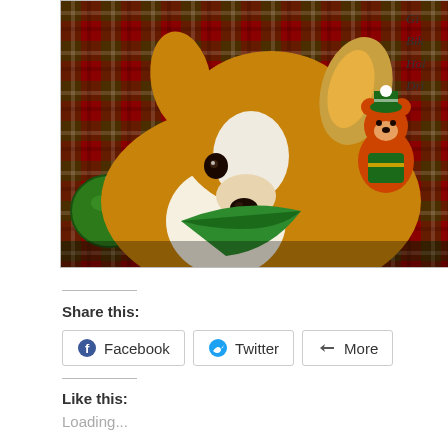[Figure (photo): A Corgi dog wearing a green bandana lying among Christmas decorations including plaid fabric, colorful ornaments, and a stuffed Christmas bear figurine]
Gi... Bik... Hol... Dri...
Share this:
Facebook  Twitter  More
Like this:
Loading...
Category: Morning Links /
6 comments